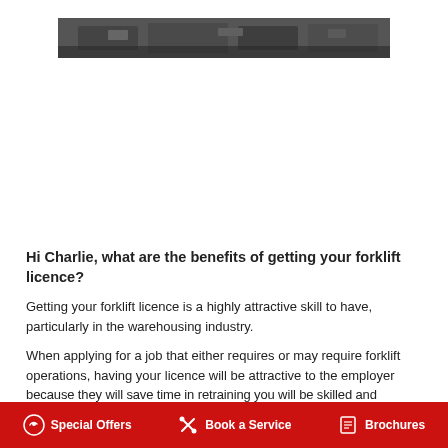[Figure (photo): Wide banner photo of forklifts or warehouse machinery, dark tones]
Hi Charlie, what are the benefits of getting your forklift licence?
Getting your forklift licence is a highly attractive skill to have, particularly in the warehousing industry.
When applying for a job that either requires or may require forklift operations, having your licence will be attractive to the employer because they will save time in retraining you will be skilled and competent
Special Offers   Book a Service   Brochures